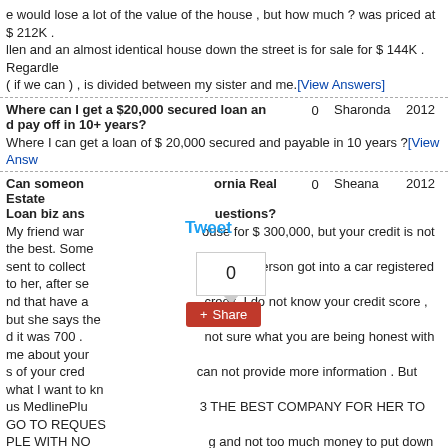e would lose a lot of the value of the house , but how much ? was priced at $ 212K . llen and an almost identical house down the street is for sale for $ 144K . Regardle ( if we can ) , is divided between my sister and me. [View Answers]
Where can I get a $20,000 secured loan and pay off in 10+ years? | 0 | Sharonda | 2012
Where I can get a loan of $ 20,000 secured and payable in 10 years ? [View Answers]
Can someone ... ornia Real Estate Loan biz ans ... uestions? | 0 | Sheana | 2012
My friend war ... ouse for $ 300,000, but your credit is not the best. Some sent to collect ... o another person got into a car registered to her, after se nd that have a ... credit. I do not know your credit score , but she says the d it was 700 . ... not sure what you are being honest with me about your s of your cred ... can not provide more information . But what I want to kn us MedlinePlu ... 3 THE BEST COMPANY FOR HER TO GO TO REQUES PLE WITH NO ... g and not too much money to put down ? MedlinePlus Me out that she w ... t about 20 % down, @ $ 30,000 . I do not think she has t here any company that will approve your loan for a $ 300,000 house with zero dow 00 ? MedlinePlus MedlinePlus She has a very good and safe that has been there fo MedlinePlus MedlinePlus All information will be greatly appreciated [View Answers]
Best secured card to get? | 0 | A smith | 2012
I want to improve my credit score , although not working at the moment I have my s a home that I get [View Answers]
What type of credit card should I get? | 0 | Laruen | 2012
I have 18 years and I am looking to establish credit . I have not paid any bills in my MedlinePlus My mother has very bad credit , he did get a loan in your name impos